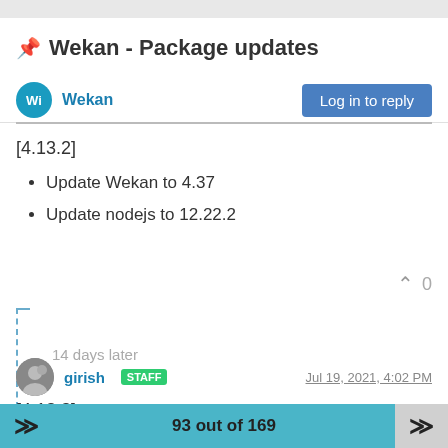📌 Wekan - Package updates
Wekan | Log in to reply
[4.13.2]
Update Wekan to 4.37
Update nodejs to 12.22.2
14 days later
girish STAFF | Jul 19, 2021, 4:02 PM
[4.13.3]
Update Wekan to 4.38
93 out of 169